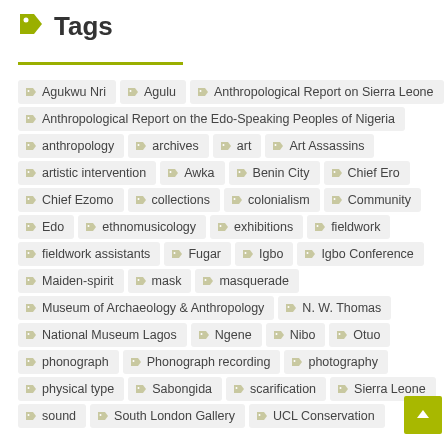Tags
Agukwu Nri
Agulu
Anthropological Report on Sierra Leone
Anthropological Report on the Edo-Speaking Peoples of Nigeria
anthropology
archives
art
Art Assassins
artistic intervention
Awka
Benin City
Chief Ero
Chief Ezomo
collections
colonialism
Community
Edo
ethnomusicology
exhibitions
fieldwork
fieldwork assistants
Fugar
Igbo
Igbo Conference
Maiden-spirit
mask
masquerade
Museum of Archaeology & Anthropology
N. W. Thomas
National Museum Lagos
Ngene
Nibo
Otuo
phonograph
Phonograph recording
photography
physical type
Sabongida
scarification
Sierra Leone
sound
South London Gallery
UCL Conservation